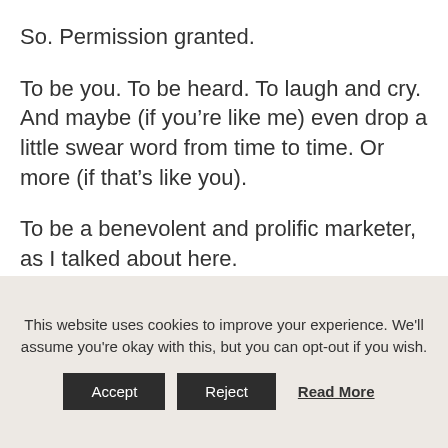So. Permission granted.
To be you. To be heard. To laugh and cry. And maybe (if you’re like me) even drop a little swear word from time to time. Or more (if that’s like you).
To be a benevolent and prolific marketer, as I talked about here.
Be seen, my friend. Your success requires it.
This website uses cookies to improve your experience. We'll assume you're okay with this, but you can opt-out if you wish.